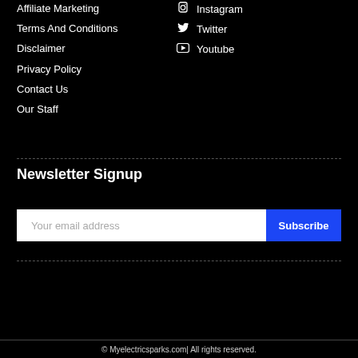Affiliate Marketing
Terms And Conditions
Disclaimer
Privacy Policy
Contact Us
Our Staff
Instagram
Twitter
Youtube
Newsletter Signup
Your email address
Subscribe
© Myelectricsparks.com| All rights reserved.